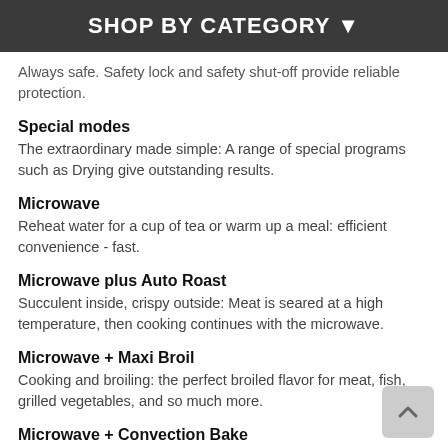SHOP BY CATEGORY ▾
Always safe. Safety lock and safety shut-off provide reliable protection.
Special modes
The extraordinary made simple: A range of special programs such as Drying give outstanding results.
Microwave
Reheat water for a cup of tea or warm up a meal: efficient convenience - fast.
Microwave plus Auto Roast
Succulent inside, crispy outside: Meat is seared at a high temperature, then cooking continues with the microwave.
Microwave + Maxi Broil
Cooking and broiling: the perfect broiled flavor for meat, fish, grilled vegetables, and so much more.
Microwave + Convection Bake
Whether cakes or a Sunday roast: ideal for quick and gentle baking and roasting on up to 2 levels.